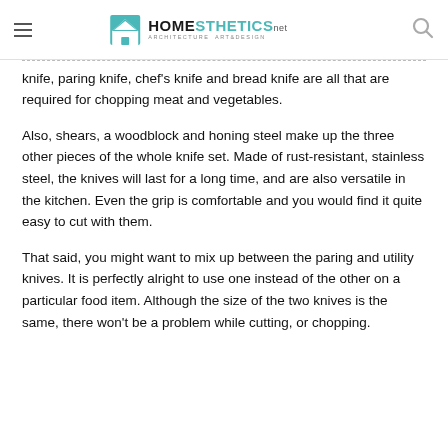Homesthetics — Architecture Art & Design
knife, paring knife, chef's knife and bread knife are all that are required for chopping meat and vegetables.
Also, shears, a woodblock and honing steel make up the three other pieces of the whole knife set. Made of rust-resistant, stainless steel, the knives will last for a long time, and are also versatile in the kitchen. Even the grip is comfortable and you would find it quite easy to cut with them.
That said, you might want to mix up between the paring and utility knives. It is perfectly alright to use one instead of the other on a particular food item. Although the size of the two knives is the same, there won't be a problem while cutting, or chopping.